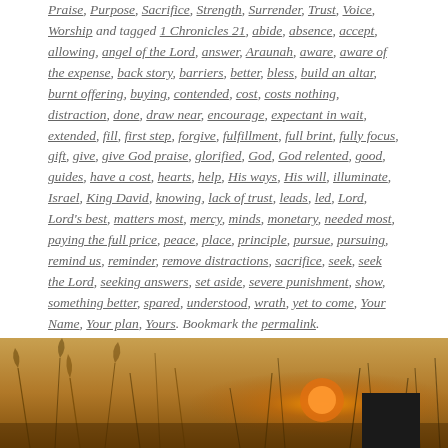Praise, Purpose, Sacrifice, Strength, Surrender, Trust, Voice, Worship and tagged 1 Chronicles 21, abide, absence, accept, allowing, angel of the Lord, answer, Araunah, aware, aware of the expense, back story, barriers, better, bless, build an altar, burnt offering, buying, contended, cost, costs nothing, distraction, done, draw near, encourage, expectant in wait, extended, fill, first step, forgive, fulfillment, full brint, fully focus, gift, give, give God praise, glorified, God, God relented, good, guides, have a cost, hearts, help, His ways, His will, illuminate, Israel, King David, knowing, lack of trust, leads, led, Lord, Lord's best, matters most, mercy, minds, monetary, needed most, paying the full price, peace, place, principle, pursue, pursuing, remind us, reminder, remove distractions, sacrifice, seek, seek the Lord, seeking answers, set aside, severe punishment, show, something better, spared, understood, wrath, yet to come, Your Name, Your plan, Yours. Bookmark the permalink.
[Figure (photo): Warm golden-toned photograph of grass or wheat stalks in a field with a glowing sun or light source visible through the grass; bottom portion of the page]